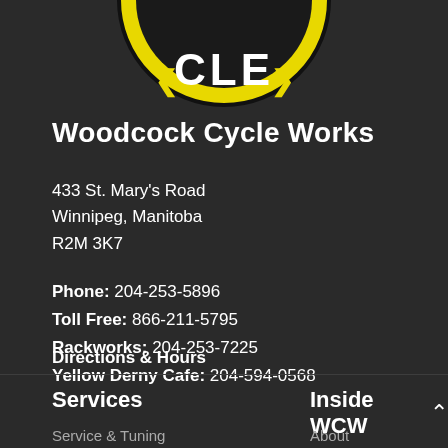[Figure (logo): Woodcock Cycle Works circular logo — black and yellow with text 'CLE' visible, partially cropped at top of page]
Woodcock Cycle Works
433 St. Mary's Road
Winnipeg, Manitoba
R2M 3K7
Phone: 204-253-5896
Toll Free: 866-211-5795
Rackworks: 204-253-7225
Yellow Derny Cafe: 204-594-0568
Directions & Hours
Services
Inside WCW
Service & Tuning
About